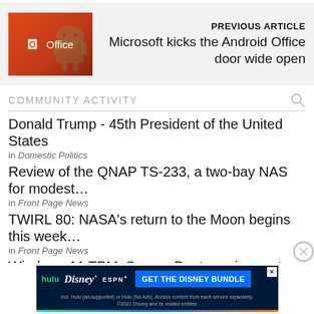[Figure (screenshot): Microsoft Office logo on orange-red gradient background with faint Android robot silhouette]
PREVIOUS ARTICLE
Microsoft kicks the Android Office door wide open
COMMUNITY ACTIVITY
Donald Trump - 45th President of the United States
in Domestic Politics
Review of the QNAP TS-233, a two-bay NAS for modest ...
in Front Page News
TWIRL 80: NASA's return to the Moon begins this week...
in Front Page News
Windows 11 TPM, Secure Boot requirements got unear
[Figure (screenshot): Disney Bundle advertisement: hulu, Disney+, ESPN+ with GET THE DISNEY BUNDLE CTA button]